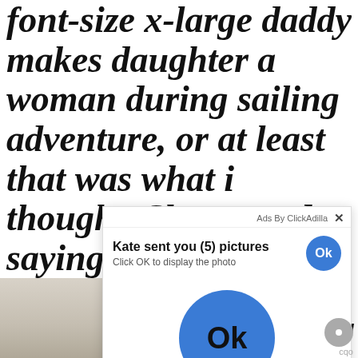font-size x-large daddy makes daughter a woman during sailing adventure, or at least that was what i thought. She started saying things like. Isnt it past your bedtimei simply said. slowly and kept up the pr ou
[Figure (screenshot): Ad popup overlay from ClickAdilla: 'Kate sent you (5) pictures. Click OK to display the photo' with a blue Ok button. A large blue Ok button is shown in the center of the popup. A partial image of a room is visible in the bottom left corner.]